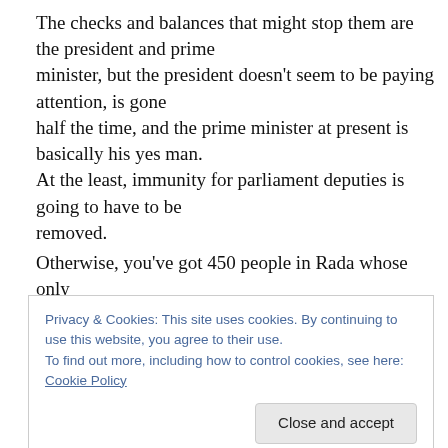The checks and balances that might stop them are the president and prime minister, but the president doesn't seem to be paying attention, is gone half the time, and the prime minister at present is basically his yes man. At the least, immunity for parliament deputies is going to have to be removed.
Otherwise, you've got 450 people in Rada whose only
Privacy & Cookies: This site uses cookies. By continuing to use this website, you agree to their use. To find out more, including how to control cookies, see here: Cookie Policy